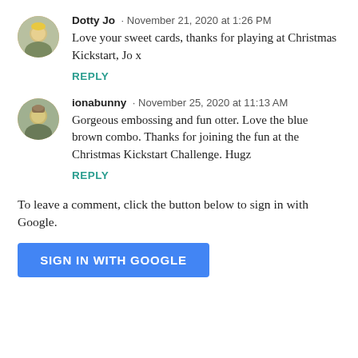Dotty Jo · November 21, 2020 at 1:26 PM
Love your sweet cards, thanks for playing at Christmas Kickstart, Jo x
REPLY
ionabunny · November 25, 2020 at 11:13 AM
Gorgeous embossing and fun otter. Love the blue brown combo. Thanks for joining the fun at the Christmas Kickstart Challenge. Hugz
REPLY
To leave a comment, click the button below to sign in with Google.
SIGN IN WITH GOOGLE